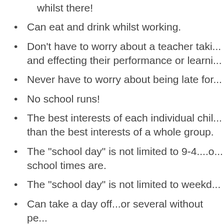both command subsequently, whilst all m... whilst there!
Can eat and drink whilst working.
Don't have to worry about a teacher taki... and effecting their performance or learni...
Never have to worry about being late for...
No school runs!
The best interests of each individual chil... than the best interests of a whole group.
The "school day" is not limited to 9-4....o... school times are.
The "school day" is not limited to weekd...
Can take a day off...or several without pe...
Can take a day off...or several without fea...
No need to make pack lunches every nigh...